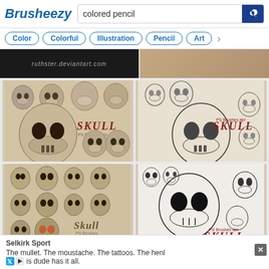Brusheezy — colored pencil [search]
Color
Colorful
Illustration
Pencil
Art
[Figure (screenshot): Four skull Photoshop brush pack preview images in a 2x2 grid. Top-left: sepia-toned skull collection labeled SKULL PS Brushes abr. Top-right: sketch-style skull collection labeled SKULL. Bottom-left: skull collection labeled Skull PS Brushes. Bottom-right: line-art skull collection labeled SKULL PS Brushes abr.]
Selkirk Sport
The mullet. The moustache. The tattoos. The henl
is dude has it all.